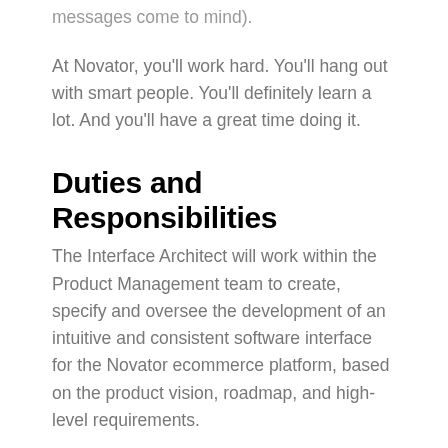messages come to mind).
At Novator, you'll work hard. You'll hang out with smart people. You'll definitely learn a lot. And you'll have a great time doing it.
Duties and Responsibilities
The Interface Architect will work within the Product Management team to create, specify and oversee the development of an intuitive and consistent software interface for the Novator ecommerce platform, based on the product vision, roadmap, and high-level requirements.
Review, analyze and interpret artifacts such as software requirements, use cases...